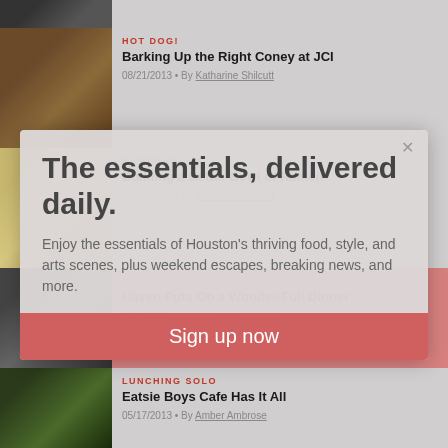[Figure (photo): Partial food photo at top]
HOT DOG!
Barking Up the Right Coney at JCI
08/21/2013 • By Katharine Shilcutt
[Figure (photo): Hot dog food photo]
RAMENARAMA
Building a Better Bowl of Ramen
08/21/2013 • By Katharine Shilcutt
[Figure (photo): Ramen bowl photo]
BEER & FOOD
Haven Puts On a Wonder-Full Dinner
06/27/2013 • By Katharine Shilcutt
[Figure (photo): Beer and food photo]
LUNCHING SOLO
Eatsie Boys Cafe Has It All
05/17/2013 • By Amber Ambrose
[Figure (photo): Eatsie Boys food photo]
The essentials, delivered daily.
Enjoy the essentials of Houston's thriving food, style, and arts scenes, plus weekend escapes, breaking news, and more.
Sign up now